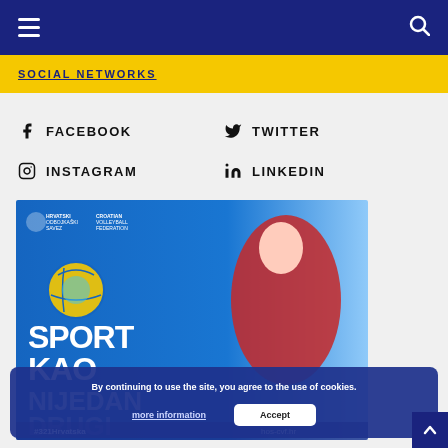Navigation bar with hamburger menu and search icon
SOCIAL NETWORKS
FACEBOOK
TWITTER
INSTAGRAM
LINKEDIN
[Figure (photo): Croatian Volleyball Federation promotional image with player spiking a ball, text SPORT KAO NJEDAN DRUGI, #321Hrvatska, hos-cvf.hr]
By continuing to use the site, you agree to the use of cookies.
more information
Accept